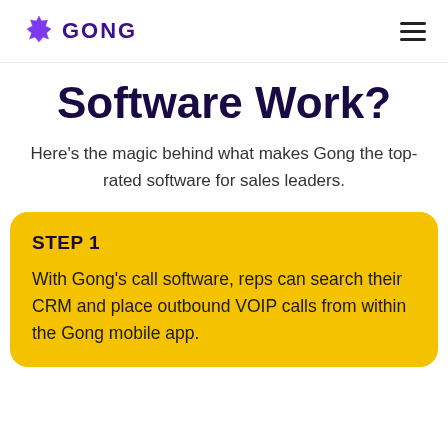GONG
Software Work?
Here’s the magic behind what makes Gong the top-rated software for sales leaders.
STEP 1
With Gong’s call software, reps can search their CRM and place outbound VOIP calls from within the Gong mobile app.